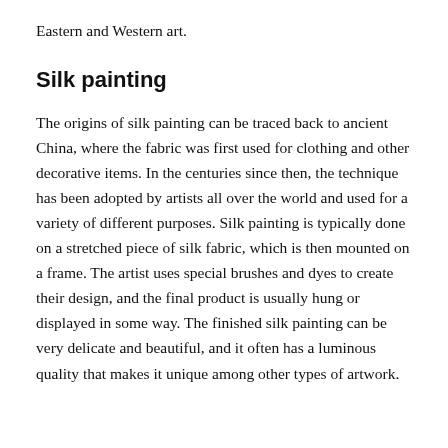Eastern and Western art.
Silk painting
The origins of silk painting can be traced back to ancient China, where the fabric was first used for clothing and other decorative items. In the centuries since then, the technique has been adopted by artists all over the world and used for a variety of different purposes. Silk painting is typically done on a stretched piece of silk fabric, which is then mounted on a frame. The artist uses special brushes and dyes to create their design, and the final product is usually hung or displayed in some way. The finished silk painting can be very delicate and beautiful, and it often has a luminous quality that makes it unique among other types of artwork.